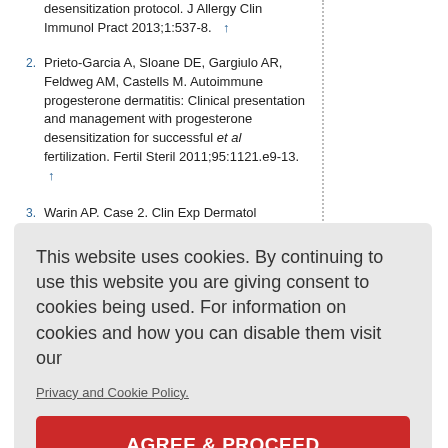desensitization protocol. J Allergy Clin Immunol Pract 2013;1:537-8.
2. Prieto-Garcia A, Sloane DE, Gargiulo AR, Feldweg AM, Castells M. Autoimmune progesterone dermatitis: Clinical presentation and management with progesterone desensitization for successful et al fertilization. Fertil Steril 2011;95:1121.e9-13.
3. Warin AP. Case 2. Clin Exp Dermatol 2001:26:107-8.
4. [partial, obscured] autoimmune progesterone dermatitis in an adolescent female. J Pediatr Adolesc...
Figures
[Figure 1], [Figure 2] [partially obscured]
This website uses cookies. By continuing to use this website you are giving consent to cookies being used. For information on cookies and how you can disable them visit our
Privacy and Cookie Policy.
AGREE & PROCEED